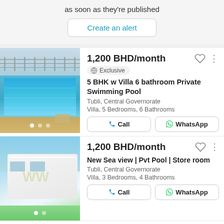as soon as they're published
Create an alert
[Figure (photo): Swimming pool photo with fence and pool deck at a villa]
1,200 BHD/month
Exclusive
5 BHK w Villa 6 bathroom Private Swimming Pool
Tubli, Central Governorate
Villa, 5 Bedrooms, 6 Bathrooms
Call
WhatsApp
[Figure (photo): Modern white villa exterior with sea view and pool]
1,200 BHD/month
New Sea view | Pvt Pool | Store room
Tubli, Central Governorate
Villa, 3 Bedrooms, 4 Bathrooms
Call
WhatsApp